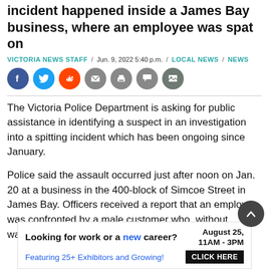incident happened inside a James Bay business, where an employee was spat on
VICTORIA NEWS STAFF / Jun. 9, 2022 5:40 p.m. / LOCAL NEWS / NEWS
[Figure (infographic): Social media share icons: Facebook (blue), Twitter (light blue), Reddit (orange), Email (grey), Print (grey), Comment (grey), Image (grey-green)]
The Victoria Police Department is asking for public assistance in identifying a suspect in an investigation into a spitting incident which has been ongoing since January.
Police said the assault occurred just after noon on Jan. 20 at a business in the 400-block of Simcoe Street in James Bay. Officers received a report that an employee was confronted by a male customer who, without warning, pulled
[Figure (infographic): Advertisement banner: Looking for work or a new career? August 25, 11AM-3PM. Featuring 25+ Exhibitors and Growing! CLICK HERE]